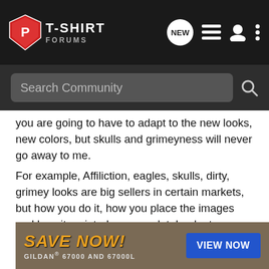T-SHIRT FORUMS
you are going to have to adapt to the new looks, new colors, but skulls and grimeyness will never go away to me.
For example, Affiliction, eagles, skulls, dirty, grimey looks are big sellers in certain markets, but how you do it, how you place the images and how its printed means a lot. Look at an inspirational site like emptees.com, to me they capture the "x/hard core scene" very well. Its not always skulls, or tattoo script, but zombies, mummy's, crazy werewolfs, puke, snot, blood, brains, crazy halftones and anything you used to see on garbage pail kids. All this retro stuff is coming back, and I would jump towards that route, and capitalize on the new trends with your style. Trends will come and go, you just have to adapt to changes, but also carve something unique from their favorite designers, and this is you build up...
[Figure (screenshot): Advertisement banner: SAVE NOW! GILDAN 67000 AND 67000L with VIEW NOW button]